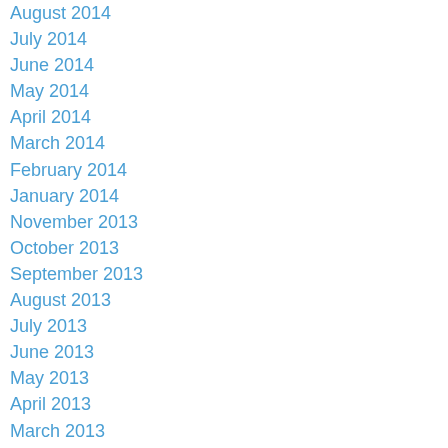August 2014
July 2014
June 2014
May 2014
April 2014
March 2014
February 2014
January 2014
November 2013
October 2013
September 2013
August 2013
July 2013
June 2013
May 2013
April 2013
March 2013
February 2013
January 2013
December 2012
Categories